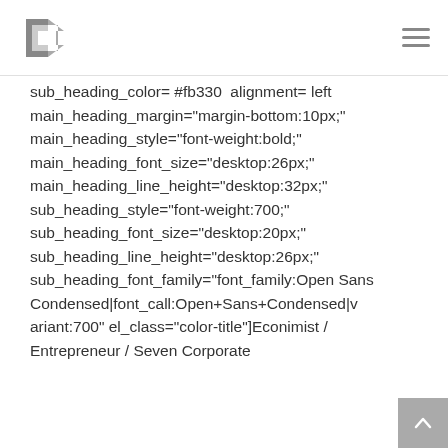[Logo] [Navigation menu icon]
sub_heading_color= #fb330 alignment= left main_heading_margin="margin-bottom:10px;" main_heading_style="font-weight:bold;" main_heading_font_size="desktop:26px;" main_heading_line_height="desktop:32px;" sub_heading_style="font-weight:700;" sub_heading_font_size="desktop:20px;" sub_heading_line_height="desktop:26px;" sub_heading_font_family="font_family:Open Sans Condensed|font_call:Open+Sans+Condensed|variant:700" el_class="color-title"]Econimist / Entrepreneur / Seven Corporate